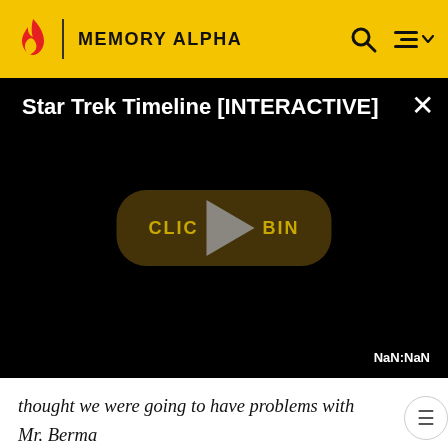MEMORY ALPHA
[Figure (screenshot): Star Trek Timeline [INTERACTIVE] video player with black background, play button overlay, 'CLICK TO BEGIN' button, and NaN:NaN timer. White X close button in top right corner.]
thought we were going to have problems with Mr. Berma who generally doesn't like to do that gag but oddly eno he was in a good mood that day. Rick has opened up his mind in a lot of ways. When I came onboard you could not mention the old STAR TREK in an episode. You couldn't